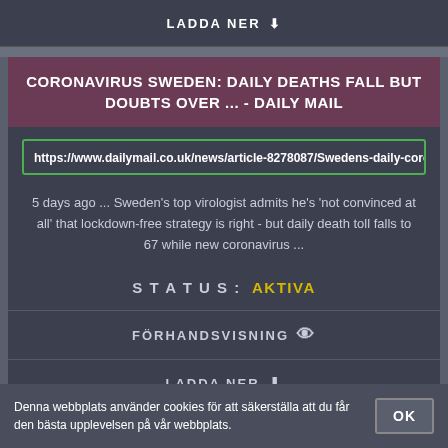LADDA NER ⬇
CORONAVIRUS SWEDEN: DAILY DEATHS FALL BUT DOUBTS OVER ... - DAILY MAIL
https://www.dailymail.co.uk/news/article-8278087/Swedens-daily-corona
5 days ago ... Sweden's top virologist admits he's 'not convinced at all' that lockdown-free strategy is right - but daily death toll falls to 67 while new coronavirus ...
STATUS: AKTIVA
FÖRHANDSVISNING 👁
LADDA NER ⬇
Denna webbplats använder cookies för att säkerställa att du får den bästa upplevelsen på vår webbplats. OK